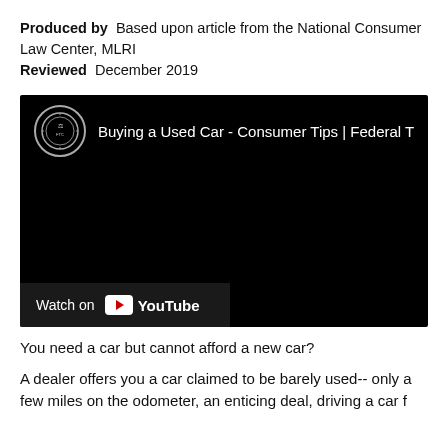Produced by  Based upon article from the National Consumer Law Center, MLRI
Reviewed  December 2019
[Figure (screenshot): Embedded YouTube video thumbnail showing 'Buying a Used Car - Consumer Tips | Federal T' with a YouTube logo circle in top-left corner and a 'Watch on YouTube' bar at the bottom-left on a black background.]
You need a car but cannot afford a new car?
A dealer offers you a car claimed to be barely used-- only a few miles on the odometer, an enticing deal, driving a car f